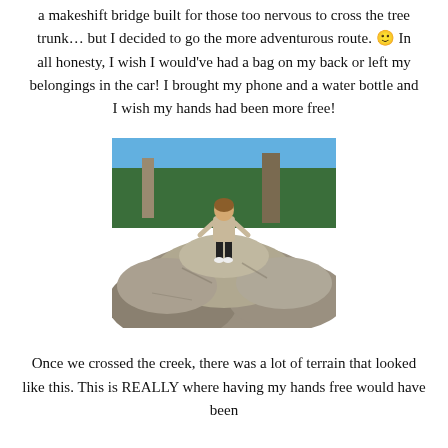a makeshift bridge built for those too nervous to cross the tree trunk… but I decided to go the more adventurous route. 🙂 In all honesty, I wish I would've had a bag on my back or left my belongings in the car! I brought my phone and a water bottle and I wish my hands had been more free!
[Figure (photo): A person standing on large rocky boulders outdoors, with green pine trees and a clear blue sky in the background.]
Once we crossed the creek, there was a lot of terrain that looked like this. This is REALLY where having my hands free would have been